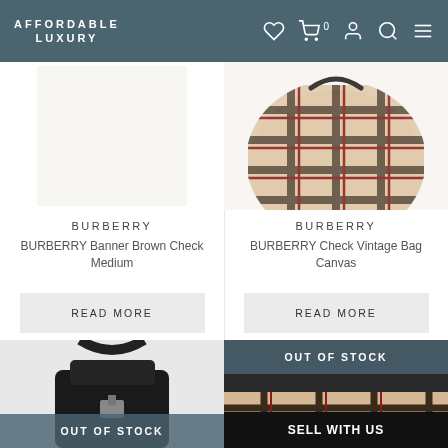AFFORDABLE LUXURY
BURBERRY
BURBERRY Banner Brown Check Medium
READ MORE
BURBERRY
BURBERRY Check Vintage Bag Canvas
READ MORE
[Figure (photo): Bottom left product image partially visible, black leather item with OUT OF STOCK overlay]
[Figure (photo): Bottom right product image partially visible, Burberry check pattern belt or strap with OUT OF STOCK overlay and SELL WITH US black bar]